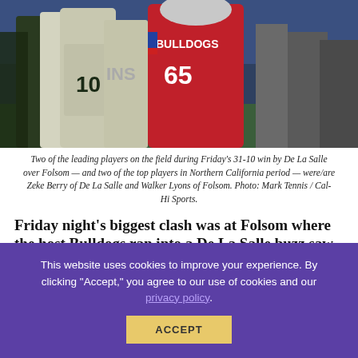[Figure (photo): Two football players on the field — one in green and white uniform with number 10 (De La Salle), one in red Bulldogs uniform with number 65 (Folsom). Night game, stadium lights visible in background.]
Two of the leading players on the field during Friday's 31-10 win by De La Salle over Folsom — and two of the top players in Northern California period — were/are Zeke Berry of De La Salle and Walker Lyons of Folsom. Photo: Mark Tennis / Cal-Hi Sports.
Friday night's biggest clash was at Folsom where the host Bulldogs ran into a De La Salle buzz saw that will reshape the
This website uses cookies to improve your experience. By clicking "Accept," you agree to our use of cookies and our privacy policy.